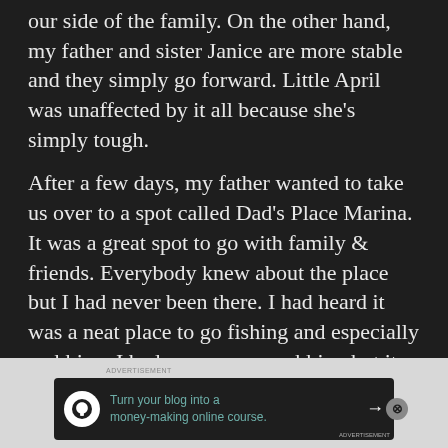our side of the family. On the other hand, my father and sister Janice are more stable and they simply go forward. Little April was unaffected by it all because she’s simply tough.
After a few days, my father wanted to take us over to a spot called Dad’s Place Marina. It was a great spot to go with family & friends. Everybody knew about the place but I had never been there. I had heard it was a neat place to go fishing and especially crabbing. I had never gone crabbing but it sounded like a fun thing to do.
[Figure (infographic): Advertisement banner: dark background with a circular white icon showing a person/tree logo, teal text reading 'Turn your blog into a money-making online course.' with a white right arrow. A close (X) button appears at the top right of the banner area.]